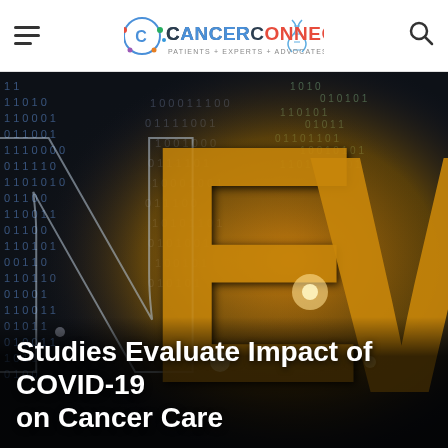CancerConnect — Patients + Experts + Advocates + Community
[Figure (photo): Hero image showing large golden and silver letters 'NEW' overlaid on a dark digital binary code background with glowing light effects, representing news]
Studies Evaluate Impact of COVID-19 on Cancer Care